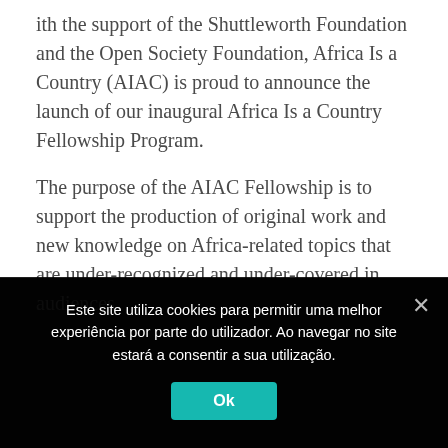ith the support of the Shuttleworth Foundation and the Open Society Foundation, Africa Is a Country (AIAC) is proud to announce the launch of our inaugural Africa Is a Country Fellowship Program.
The purpose of the AIAC Fellowship is to support the production of original work and new knowledge on Africa-related topics that are under-recognized and under-covered in traditional media, new media, and other public forums. It particularly seeks to amplify voices and perspectives from the left that address the major political, social, and economic issues affecting Africans in ways that are original, accessible, and engaging to a variety of audiences.
Este site utiliza cookies para permitir uma melhor experiência por parte do utilizador. Ao navegar no site estará a consentir a sua utilização.
Ok